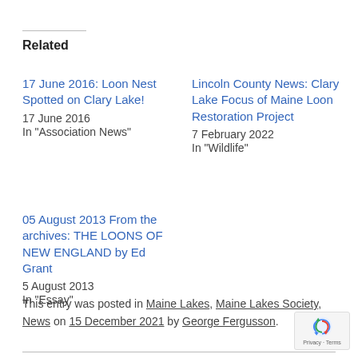Related
17 June 2016: Loon Nest Spotted on Clary Lake!
17 June 2016
In "Association News"
Lincoln County News: Clary Lake Focus of Maine Loon Restoration Project
7 February 2022
In "Wildlife"
05 August 2013 From the archives: THE LOONS OF NEW ENGLAND by Ed Grant
5 August 2013
In "Essay"
This entry was posted in Maine Lakes, Maine Lakes Society, News on 15 December 2021 by George Fergusson.